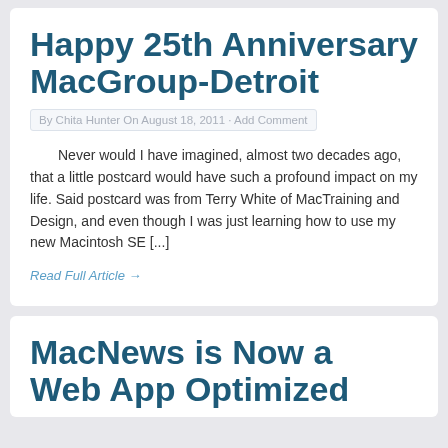Happy 25th Anniversary MacGroup-Detroit
By Chita Hunter On August 18, 2011 · Add Comment
Never would I have imagined, almost two decades ago, that a little postcard would have such a profound impact on my life. Said postcard was from Terry White of MacTraining and Design, and even though I was just learning how to use my new Macintosh SE [...]
Read Full Article →
MacNews is Now a Web App Optimized